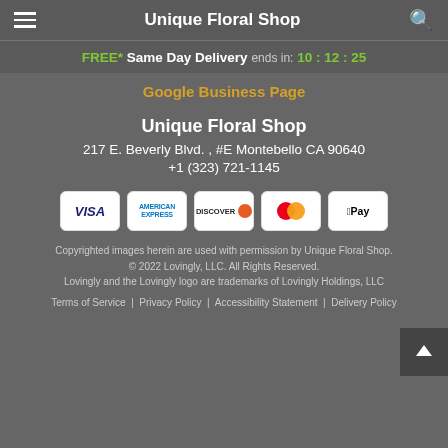Unique Floral Shop
FREE* Same Day Delivery ends in: 10 : 12 : 25
Google Business Page
Unique Floral Shop
217 E. Beverly Blvd. , #E Montebello CA 90640
+1 (323) 721-1145
[Figure (other): Payment method icons: VISA, American Express, Discover, Mastercard, Apple Pay]
Copyrighted images herein are used with permission by Unique Floral Shop.
© 2022 Lovingly, LLC. All Rights Reserved.
Lovingly and the Lovingly logo are trademarks of Lovingly Holdings, LLC
Terms of Service | Privacy Policy | Accessibility Statement | Delivery Policy